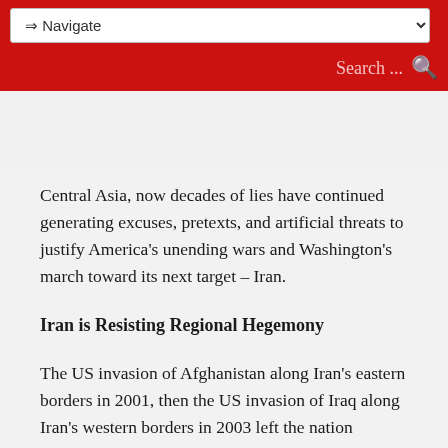⇒ Navigate    Search ...
Central Asia, now decades of lies have continued generating excuses, pretexts, and artificial threats to justify America's unending wars and Washington's march toward its next target – Iran.
Iran is Resisting Regional Hegemony
The US invasion of Afghanistan along Iran's eastern borders in 2001, then the US invasion of Iraq along Iran's western borders in 2003 left the nation surrounded by US military forces. The invasions, followed by extended occupations were only two of the most extreme examples of Washington's aggressive military encirclement